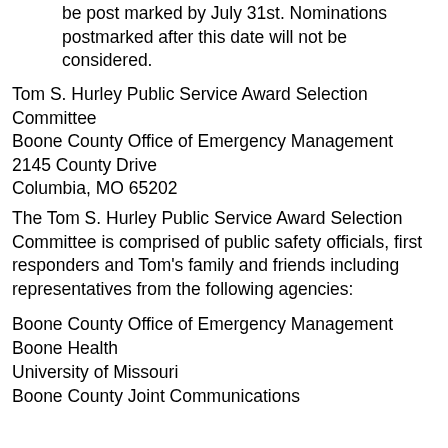be post marked by July 31st. Nominations postmarked after this date will not be considered.
Tom S. Hurley Public Service Award Selection Committee
Boone County Office of Emergency Management
2145 County Drive
Columbia, MO 65202
The Tom S. Hurley Public Service Award Selection Committee is comprised of public safety officials, first responders and Tom's family and friends including representatives from the following agencies:
Boone County Office of Emergency Management
Boone Health
University of Missouri
Boone County Joint Communications